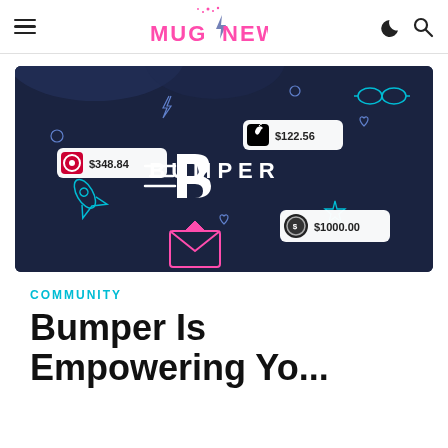MUG NEWS — navigation bar with hamburger menu, logo, moon icon, and search icon
[Figure (illustration): Dark navy blue promotional banner for Bumper app showing the Bumper logo (stylized B with speed lines) and the word BUMPER in white, with floating UI cards showing Apple $122.56, Lululemon $348.84, and a coin icon $1000.00, plus decorative neon line icons (hearts, lightning, goggles, rocket, envelope, star, rocket) on a dark blue background]
COMMUNITY
Bumper Is Empowering Yo...